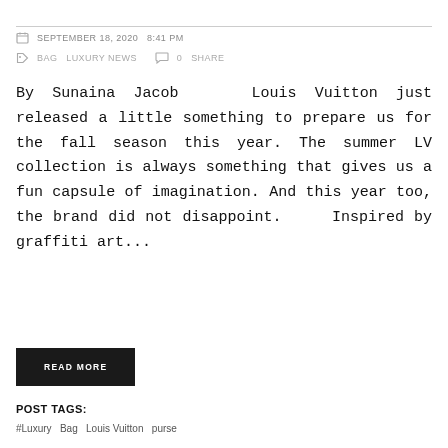SEPTEMBER 18, 2020  8:41 PM
BAG  LUXURY NEWS   0  SHARE
By Sunaina Jacob   Louis Vuitton just released a little something to prepare us for the fall season this year. The summer LV collection is always something that gives us a fun capsule of imagination. And this year too, the brand did not disappoint.    Inspired by graffiti art...
READ MORE
POST TAGS:
#Luxury   Bag   Louis Vuitton   purse